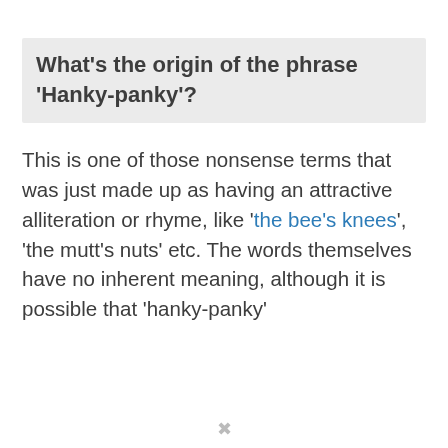What's the origin of the phrase 'Hanky-panky'?
This is one of those nonsense terms that was just made up as having an attractive alliteration or rhyme, like 'the bee's knees', 'the mutt's nuts' etc. The words themselves have no inherent meaning, although it is possible that 'hanky-panky'